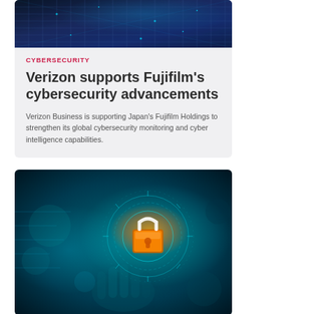[Figure (photo): Abstract dark blue digital network grid pattern representing cybersecurity technology]
CYBERSECURITY
Verizon supports Fujifilm's cybersecurity advancements
Verizon Business is supporting Japan's Fujifilm Holdings to strengthen its global cybersecurity monitoring and cyber intelligence capabilities.
[Figure (photo): Digital hand holding glowing padlock icon with teal cybersecurity interface rings and bokeh background representing cybersecurity protection]